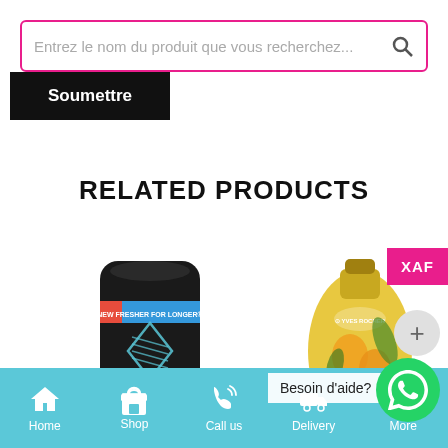[Figure (screenshot): Search bar with placeholder text 'Entrez le nom du produit que vous recherchez...' and a search icon, styled with pink border]
Soumettre
RELATED PRODUCTS
[Figure (photo): AXE deodorant can, black with blue diamond logo, text 'NEW FRESHER FOR LONGER' on a red-blue banner]
[Figure (photo): Yves Rocher yellow bottle with mango and herb illustrations]
XAF
Besoin d'aide?
[Figure (logo): WhatsApp icon on green circle button]
Home  Shop  Call us  Delivery  More